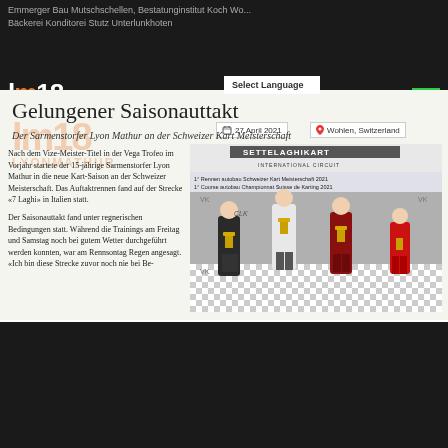Emmerger Bau Mutschschellen, Bestatunginstitut Koch Wo... Bäckerei Konditorei Stutz Unterlunkhoten
[Figure (logo): LM18 LyonMathur logo in white and orange on dark background]
Select Language
ENGLISH
Gelungener Saisonauttakt
27 April 2021
Wohlen, Switzerland
Der Sarmenstorfer Lyon Mathur an der Schweizer Kart Meisterschaft
Nach dem Vize-Meister-Titel in der Vega Trofeo im Vorjahr startete der 15-jährige Sarmenstorfer Lyon Mathur in die neue Kart-Saison an der Schweizer Meisterschaft. Das Auftaktrennen fand auf der Strecke «7 Laghi» in Italien statt.
Der Saisonauttakt fand unter regnerischen Bedingungen statt. Während die Trainings am Freitag und Samstag noch bei gutem Wetter durchgeführt werden konnten, war am Rennsontag Regen angesagt. «Ich bin diese Strecke zuvor noch nie bei Be-
[Figure (photo): Podium celebration photo at Settelaghikart International Circuit. Four racers in karting suits and masks standing on podium with trophies. Banner reads: 1° Rennen autobau Schweizer Kart Meisterschaft 2021 / 1° Course autobau Championnat Suisse de Karting 2021]
OK SENIOR ROOKIE – SWISS KARTING CHAMPIONSHIP 2021
Woher Anzeiger - Good start to the season